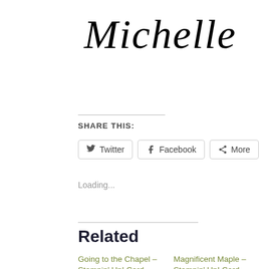Michelle
SHARE THIS:
Twitter   Facebook   More
Loading...
Related
Going to the Chapel – Stampin' Up! Card
June 14, 2017
Magnificent Maple – Stampin' Up! Card Tutorial #629